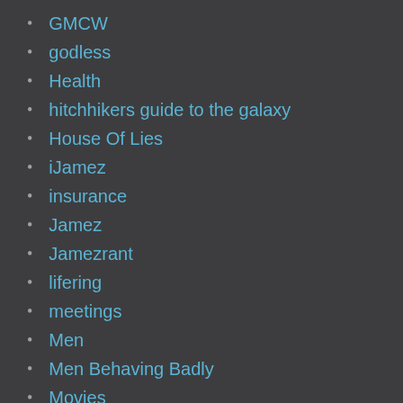GMCW
godless
Health
hitchhikers guide to the galaxy
House Of Lies
iJamez
insurance
Jamez
Jamezrant
lifering
meetings
Men
Men Behaving Badly
Movies
Music
Phoenix
poem
Politics
Random Rantings